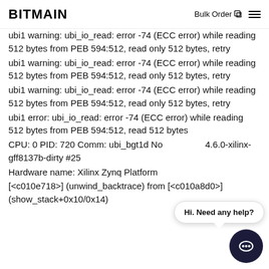BITMAIN | Bulk Order
ubi1 warning: ubi_io_read: error -74 (ECC error) while reading 512 bytes from PEB 594:512, read only 512 bytes, retry
ubi1 warning: ubi_io_read: error -74 (ECC error) while reading 512 bytes from PEB 594:512, read only 512 bytes, retry
ubi1 warning: ubi_io_read: error -74 (ECC error) while reading 512 bytes from PEB 594:512, read only 512 bytes, retry
ubi1 error: ubi_io_read: error -74 (ECC error) while reading 512 bytes from PEB 594:512, read 512 bytes
CPU: 0 PID: 720 Comm: ubi_bgt1d Not tainted 4.6.0-xilinx-gff8137b-dirty #25
Hardware name: Xilinx Zynq Platform
[<c010e718>] (unwind_backtrace) from [<c010a8d0>] (show_stack+0x10/0x14)